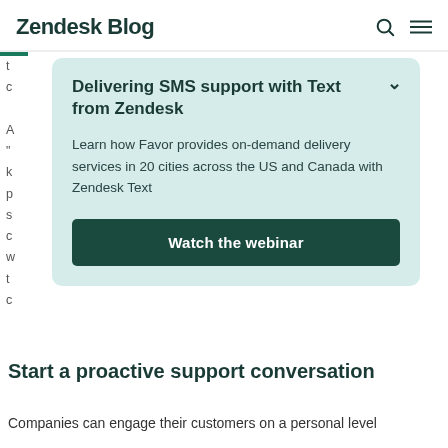Zendesk Blog
[Figure (other): Modal card with title 'Delivering SMS support with Text from Zendesk', description text, and a 'Watch the webinar' button on a light teal background]
Start a proactive support conversation
Companies can engage their customers on a personal level